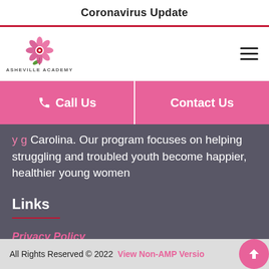Coronavirus Update
[Figure (logo): Asheville Academy logo — pink flower above text reading ASHEVILLE ACADEMY]
Call Us
Contact Us
Carolina. Our program focuses on helping struggling and troubled youth become happier, healthier young women
Links
Privacy Policy
All Rights Reserved © 2022 View Non-AMP Version